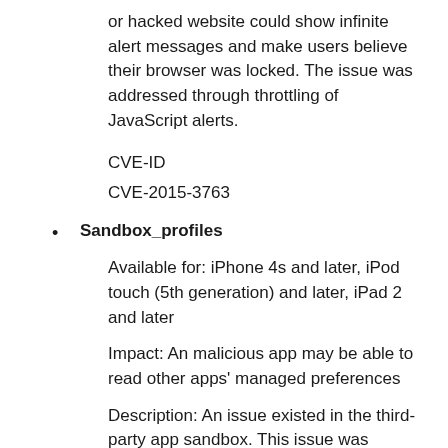or hacked website could show infinite alert messages and make users believe their browser was locked. The issue was addressed through throttling of JavaScript alerts.
CVE-ID
CVE-2015-3763
Sandbox_profiles
Available for: iPhone 4s and later, iPod touch (5th generation) and later, iPad 2 and later
Impact: An malicious app may be able to read other apps' managed preferences
Description: An issue existed in the third-party app sandbox. This issue was addressed by improving the third-party sandbox profile.